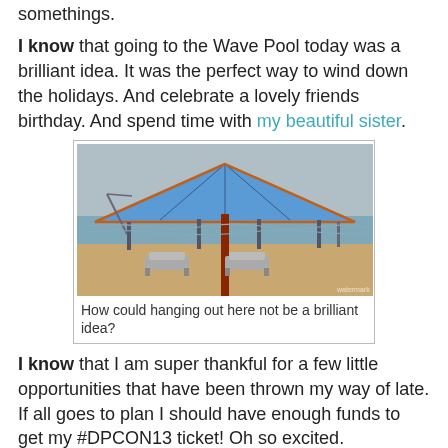somethings.
I know that going to the Wave Pool today was a brilliant idea. It was the perfect way to wind down the holidays. And celebrate a lovely friends birthday. And spend time with my beautiful sister.
[Figure (photo): A large blue patio umbrella on a red pole with two lounge chairs beneath it, overlooking a body of water with poles and cranes in the background under a cloudy sky.]
How could hanging out here not be a brilliant idea?
I know that I am super thankful for a few little opportunities that have been thrown my way of late. If all goes to plan I should have enough funds to get my #DPCON13 ticket! Oh so excited.
I know that when I started this post it was just going to be short and sweet due to the stupidness of the time and the